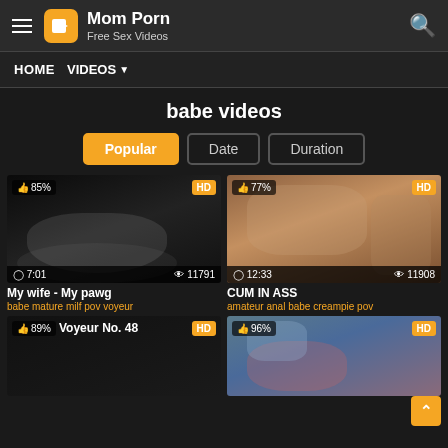Mom Porn - Free Sex Videos
HOME  VIDEOS
babe videos
Popular  Date  Duration
[Figure (screenshot): Video thumbnail 1 - dark/night vision image, rating 85%, duration 7:01, views 11791, HD badge]
My wife - My pawg
babe mature milf pov voyeur
[Figure (screenshot): Video thumbnail 2 - warm toned image, rating 77%, duration 12:33, views 11908, HD badge]
CUM IN ASS
amateur anal babe creampie pov
[Figure (screenshot): Video thumbnail 3 - dark image, rating 89%, title Voyeur No. 48, HD badge]
[Figure (screenshot): Video thumbnail 4 - blue/pink toned image, rating 96%, HD badge]